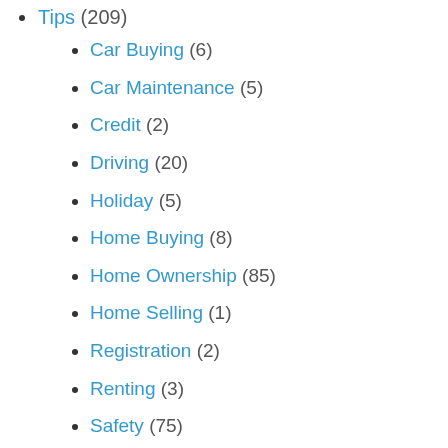Tips (209)
Car Buying (6)
Car Maintenance (5)
Credit (2)
Driving (20)
Holiday (5)
Home Buying (8)
Home Ownership (85)
Home Selling (1)
Registration (2)
Renting (3)
Safety (75)
Teen Drivers (1)
Travel (5)
Weather (35)